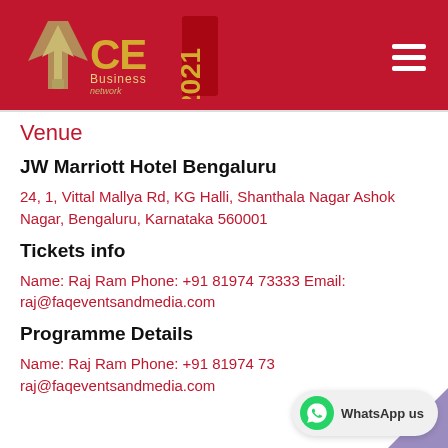[Figure (logo): ACE Business 2021 event logo on red banner with hamburger menu icon]
Venue
JW Marriott Hotel Bengaluru
24, 1, Vittal Mallya Rd, KG Halli, Shanthala Nagar Ashok Nagar, Bengaluru, Karnataka 560001
Tickets info
Name: Raj Ram Phone: +91 81974 73333 Email: raj@faqeventsandmedia.com
Programme Details
Name: Raj Ram Phone: +91 81974 73... raj@faqeventsandmedia.com